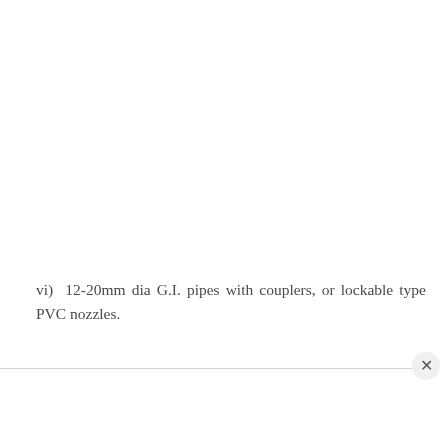vi)  12-20mm dia G.I. pipes with couplers, or lockable type PVC nozzles.